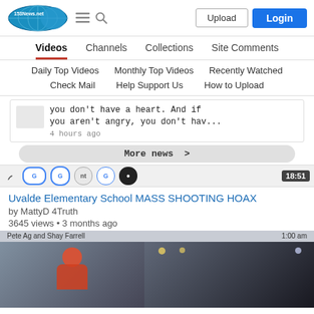153News.net navigation header with Upload and Login buttons
Videos | Channels | Collections | Site Comments
Daily Top Videos | Monthly Top Videos | Recently Watched
Check Mail | Help Support Us | How to Upload
[Figure (screenshot): News snippet text: 'you don't have a heart. And if you aren't angry, you don't hav...' 4 hours ago]
More news >
[Figure (screenshot): Browser tab strip showing Google and other tab icons with 18:51 duration badge]
Uvalde Elementary School MASS SHOOTING HOAX
by MattyD 4Truth
3645 views • 3 months ago
[Figure (screenshot): Video preview thumbnail showing two people on screen, with text 'Pete Ag and Shay Farrell' at top]